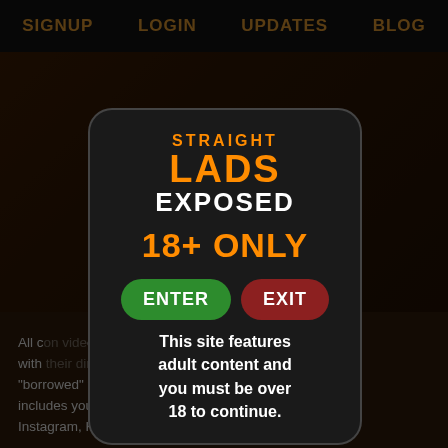SIGNUP   LOGIN   UPDATES   BLOG
[Figure (screenshot): Website background showing dark-themed adult content site with partially visible imagery]
All content provided on this site is published with their direct consent. All content is "borrowed" from lads' social media pages, which includes youtube, Facebook, Snapchat, Instagram, Kee...
[Figure (logo): Straight Lads Exposed logo with orange and white text on dark background]
18+ ONLY
ENTER
EXIT
This site features adult content and you must be over 18 to continue.